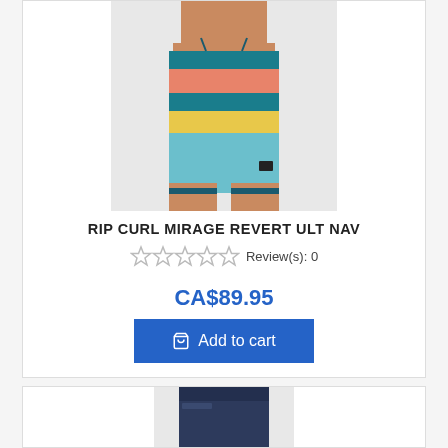[Figure (photo): Man wearing teal/blue boardshorts with coral, yellow, and light blue horizontal stripes. Product photo of Rip Curl Mirage Revert ULT NAV boardshorts.]
RIP CURL MIRAGE REVERT ULT NAV
☆☆☆☆☆ Review(s): 0
CA$89.95
Add to cart
[Figure (photo): Partial view of a second product — dark navy boardshorts.]